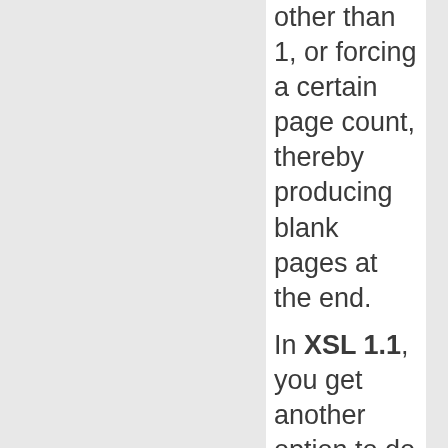other than 1, or forcing a certain page count, thereby producing blank pages at the end.
In XSL 1.1, you get another option to do this: make sure an "id" is set on the page-sequence and reference it using fo:page-number-citation